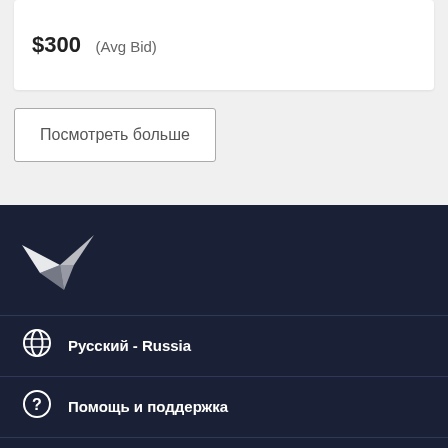$300  (Avg Bid)
Посмотреть больше
[Figure (logo): Freelancer.com bird/paper-plane logo in white on dark navy background]
Русский - Russia
Помощь и поддержка
Freelancer